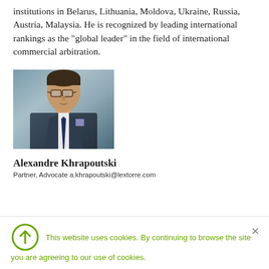institutions in Belarus, Lithuania, Moldova, Ukraine, Russia, Austria, Malaysia. He is recognized by leading international rankings as the "global leader" in the field of international commercial arbitration.
[Figure (photo): Professional headshot of Alexandre Khrapoutski, a man in a dark suit with a blue tie and light blue pocket square, wearing glasses, against a muted blue-grey background.]
Alexandre Khrapoutski
Partner, Advocate a.khrapoutski@lextorre.com
This website uses cookies. By continuing to browse the site you are agreeing to our use of cookies.